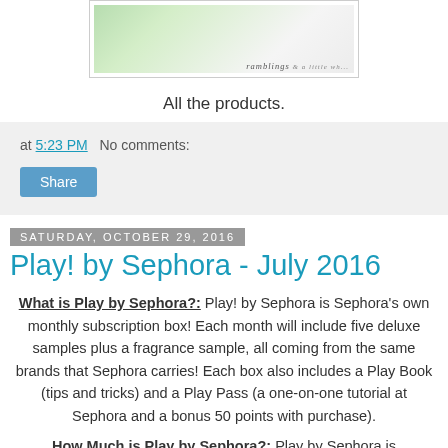[Figure (photo): Product photo with floral/holiday pattern, watermark reading 'ramblings' visible in bottom right corner]
All the products.
at 5:23 PM   No comments:
Share
Saturday, October 29, 2016
Play! by Sephora - July 2016
What is Play by Sephora?: Play! by Sephora is Sephora's own monthly subscription box! Each month will include five deluxe samples plus a fragrance sample, all coming from the same brands that Sephora carries! Each box also includes a Play Book (tips and tricks) and a Play Pass (a one-on-one tutorial at Sephora and a bonus 50 points with purchase).
How Much is Play by Sephora?: Play by Sephora is